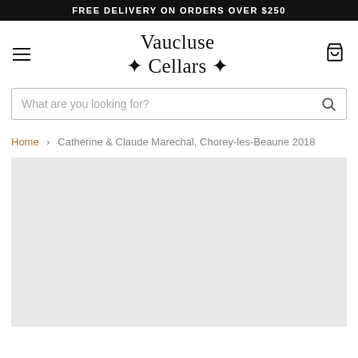FREE DELIVERY ON ORDERS OVER $250
Vaucluse ✦ Cellars ✦
What are you looking for?
Home › Catherine & Claude Marechal, Chorey-les-Beaune 2018
[Figure (photo): Light grey product image placeholder area for wine bottle]